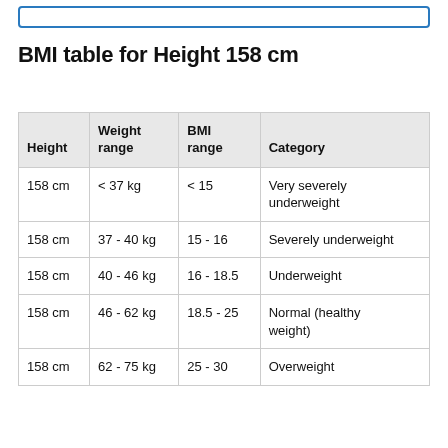BMI table for Height 158 cm
| Height | Weight range | BMI range | Category |
| --- | --- | --- | --- |
| 158 cm | < 37 kg | < 15 | Very severely underweight |
| 158 cm | 37 - 40 kg | 15 - 16 | Severely underweight |
| 158 cm | 40 - 46 kg | 16 - 18.5 | Underweight |
| 158 cm | 46 - 62 kg | 18.5 - 25 | Normal (healthy weight) |
| 158 cm | 62 - 75 kg | 25 - 30 | Overweight |